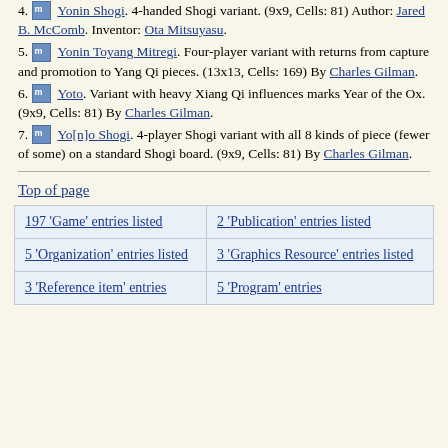4. [icon] Yonin Shogi. 4-handed Shogi variant. (9x9, Cells: 81) Author: Jared B. McComb. Inventor: Ota Mitsuyasu.
5. [icon] Yonin Toyang Mitregi. Four-player variant with returns from capture and promotion to Yang Qi pieces. (13x13, Cells: 169) By Charles Gilman.
6. [icon] Yoto. Variant with heavy Xiang Qi influences marks Year of the Ox. (9x9, Cells: 81) By Charles Gilman.
7. [icon] Yo[n]o Shogi. 4-player Shogi variant with all 8 kinds of piece (fewer of some) on a standard Shogi board. (9x9, Cells: 81) By Charles Gilman.
Top of page
| 197 'Game' entries listed | 2 'Publication' entries listed |
| 5 'Organization' entries listed | 3 'Graphics Resource' entries listed |
| 3 'Reference item' entries | 5 'Program' entries |